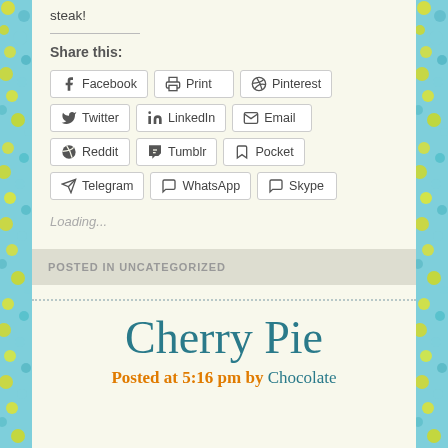steak!
Share this:
[Figure (screenshot): Social sharing buttons grid: Facebook, Print, Pinterest, Twitter, LinkedIn, Email, Reddit, Tumblr, Pocket, Telegram, WhatsApp, Skype]
Loading...
POSTED IN UNCATEGORIZED
Cherry Pie
Posted at 5:16 pm by Chocolate